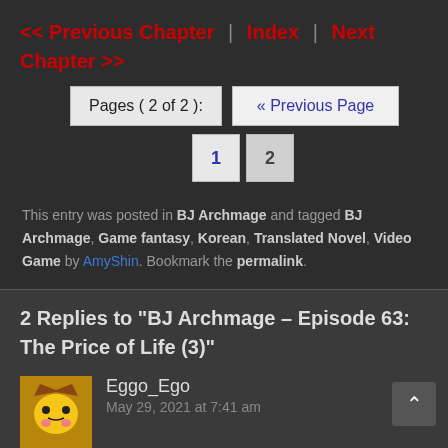<< Previous Chapter | Index | Next Chapter >>
Pages ( 2 of 2 ): « Previous Page  1  2
This entry was posted in BJ Archmage and tagged BJ Archmage, Game fantasy, Korean, Translated Novel, Video Game by AmyShin. Bookmark the permalink.
2 Replies to “BJ Archmage – Episode 63: The Price of Life (3)”
Eggo_Ego
May 29, 2021 at 7:41 am
Oooh getting interesting! Thanks for the chapter!